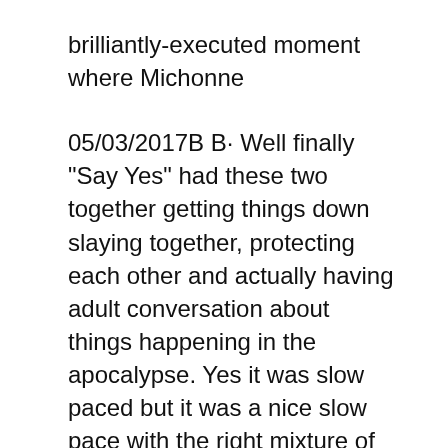brilliantly-executed moment where Michonne
05/03/2017B B· Well finally "Say Yes" had these two together getting things down slaying together, protecting each other and actually having adult conversation about things happening in the apocalypse. Yes it was slow paced but it was a nice slow pace with the right mixture of everything this couple encompasses. Nice to see some humor, tension, excitement "Say Yes" is the twelfth episode of the seventh season of AMC's The Walking Dead. It is the ninety-fifth episode of the series overall. It premiered on March 5, 2017. It was written by Matt Negrete and directed by